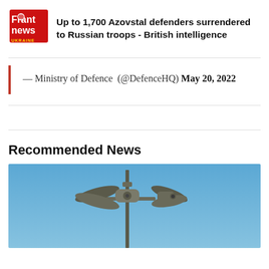Up to 1,700 Azovstal defenders surrendered to Russian troops - British intelligence
— Ministry of Defence (@DefenceHQ) May 20, 2022
Recommended News
[Figure (photo): A drone or radar equipment mounted on a pole against a blue sky background]